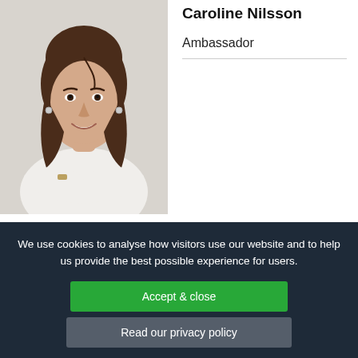[Figure (photo): Professional headshot of Caroline Nilsson, a woman with brown wavy hair, smiling, arms crossed, wearing a white top, light grey background.]
Caroline Nilsson
Ambassador
We use cookies to analyse how visitors use our website and to help us provide the best possible experience for users.
Accept & close
Read our privacy policy